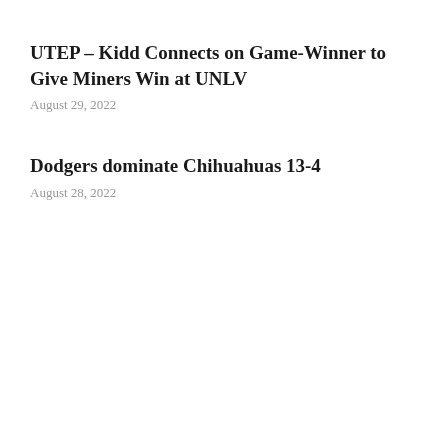UTEP – Kidd Connects on Game-Winner to Give Miners Win at UNLV
August 29, 2022
Dodgers dominate Chihuahuas 13-4
August 28, 2022